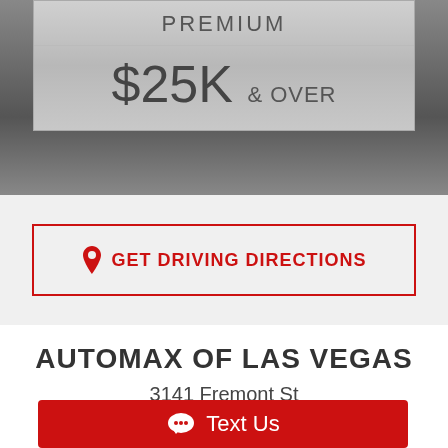PREMIUM
$25K & OVER
GET DRIVING DIRECTIONS
AUTOMAX OF LAS VEGAS
3141 Fremont St
Text Us